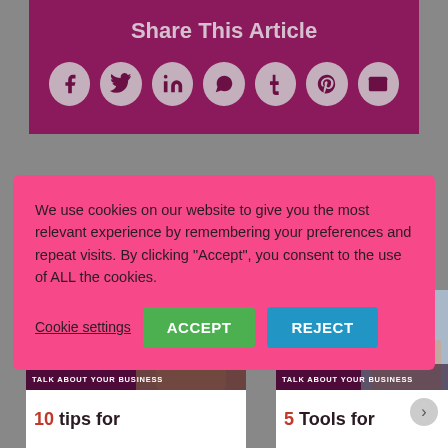Share This Article
[Figure (infographic): Seven social media sharing icons (Facebook, Twitter, LinkedIn, WhatsApp, Tumblr, Pinterest, Email) arranged in a row on a dark magenta/purple background]
We use cookies on our website to give you the most relevant experience by remembering your preferences and repeat visits. By clicking “Accept”, you consent to the use of ALL the cookies.
Cookie settings
ACCEPT
REJECT
ips for working n the children around
TALK ABOUT YOUR BUSINESS
ools for Keeping Organised
TALK ABOUT YOUR BUSINESS
10 tips for
5 Tools for